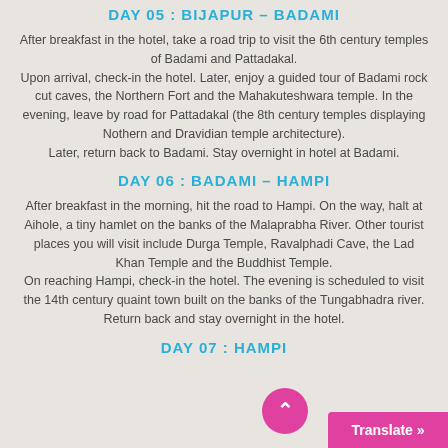DAY 05 : BIJAPUR – BADAMI
After breakfast in the hotel, take a road trip to visit the 6th century temples of Badami and Pattadakal. Upon arrival, check-in the hotel. Later, enjoy a guided tour of Badami rock cut caves, the Northern Fort and the Mahakuteshwara temple. In the evening, leave by road for Pattadakal (the 8th century temples displaying Nothern and Dravidian temple architecture). Later, return back to Badami. Stay overnight in hotel at Badami.
DAY 06 : BADAMI – HAMPI
After breakfast in the morning, hit the road to Hampi. On the way, halt at Aihole, a tiny hamlet on the banks of the Malaprabha River. Other tourist places you will visit include Durga Temple, Ravalphadi Cave, the Lad Khan Temple and the Buddhist Temple. On reaching Hampi, check-in the hotel. The evening is scheduled to visit the 14th century quaint town built on the banks of the Tungabhadra river. Return back and stay overnight in the hotel.
DAY 07 : HAMPI